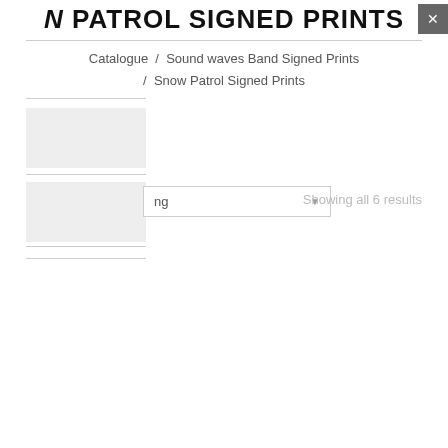N PATROL SIGNED PRINTS
Catalogue / Sound waves Band Signed Prints / Snow Patrol Signed Prints
Showing all 6 results